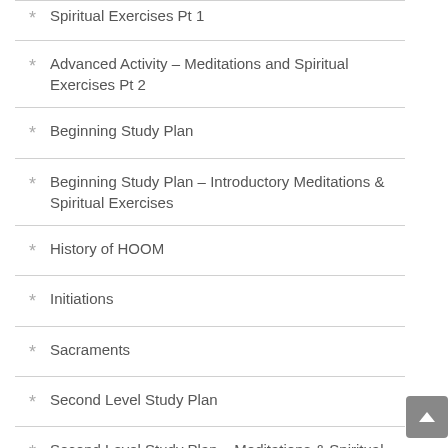Advanced Activity – Meditations and Spiritual Exercises Pt 2
Beginning Study Plan
Beginning Study Plan – Introductory Meditations & Spiritual Exercises
History of HOOM
Initiations
Sacraments
Second Level Study Plan
Second Level Study Plan – Meditations & Spiritual Exercises